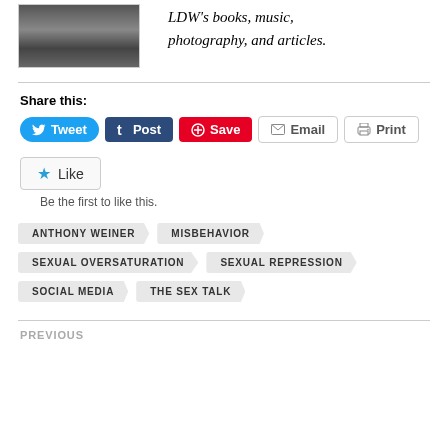[Figure (photo): Black and white photo of a person]
LDW's books, music, photography, and articles.
Share this:
Tweet Post Save Email Print
Like
Be the first to like this.
ANTHONY WEINER
MISBEHAVIOR
SEXUAL OVERSATURATION
SEXUAL REPRESSION
SOCIAL MEDIA
THE SEX TALK
PREVIOUS